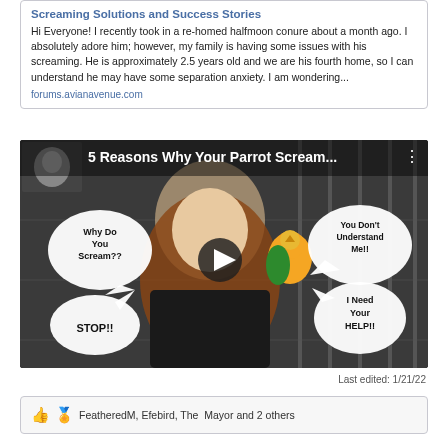Screaming Solutions and Success Stories
Hi Everyone! I recently took in a re-homed halfmoon conure about a month ago. I absolutely adore him; however, my family is having some issues with his screaming. He is approximately 2.5 years old and we are his fourth home, so I can understand he may have some separation anxiety. I am wondering...
forums.avianavenue.com
[Figure (screenshot): Video thumbnail showing a woman with a parrot (conure) on her hand with speech bubbles: 'Why Do You Scream??', 'You Don't Understand Me!!', 'STOP!!', 'I Need Your HELP!!'. Title text overlay reads '5 Reasons Why Your Parrot Scream...' with a play button in the center.]
Last edited: 1/21/22
FeatheredM, Efebird, The  Mayor and 2 others